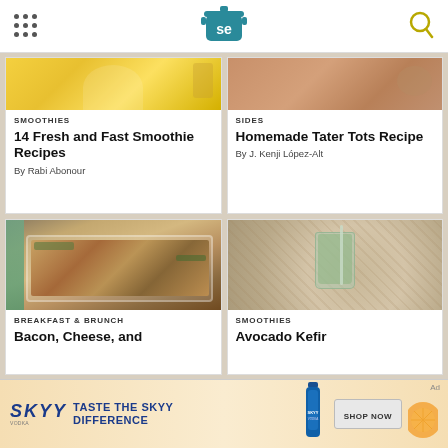Serious Eats logo header
[Figure (photo): Yellow smoothie drink photo - top portion visible]
SMOOTHIES
14 Fresh and Fast Smoothie Recipes
By Rabi Abonour
[Figure (photo): Tater tots / sides food photo - top portion visible]
SIDES
Homemade Tater Tots Recipe
By J. Kenji López-Alt
[Figure (photo): Bacon, cheese breakfast casserole baked dish photo]
BREAKFAST & BRUNCH
Bacon, Cheese, and
[Figure (photo): Avocado kefir smoothie in a jar on woven mat]
SMOOTHIES
Avocado Kefir
[Figure (advertisement): SKYY Vodka advertisement - Taste the SKYY Difference banner with Shop Now button]